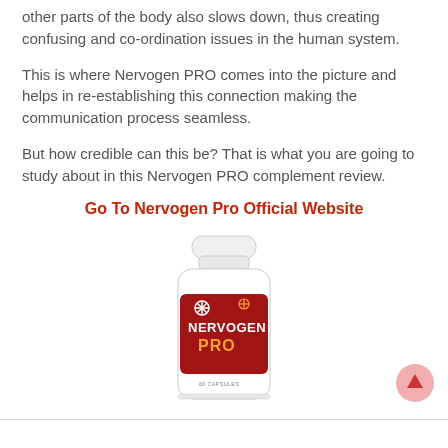other parts of the body also slows down, thus creating confusing and co-ordination issues in the human system.
This is where Nervogen PRO comes into the picture and helps in re-establishing this connection making the communication process seamless.
But how credible can this be? That is what you are going to study about in this Nervogen PRO complement review.
Go To Nervogen Pro Official Website
[Figure (photo): A white and red bottle of Nervogen PRO supplement capsules against a white background.]